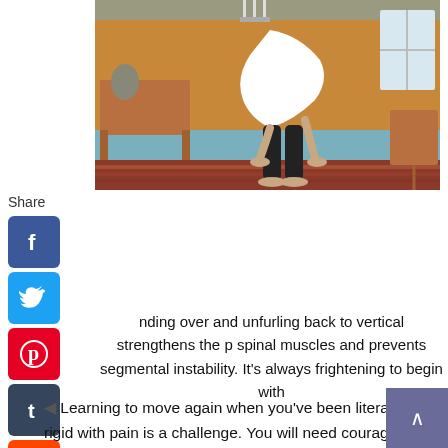[Figure (photo): Person in white shirt and black pants bending forward with hands touching the floor, in a room with orange and blue walls and a patterned rug]
[Figure (infographic): Social media share buttons: Facebook, Twitter, Pinterest, Tumblr, Reddit, WhatsApp, Messenger, with Share label]
nding over and unfurling back to vertical strengthens the p spinal muscles and prevents segmental instability. It's always frightening to begin with
Learning to move again when you've been literally rigid with pain is a challenge. You will need courage and confidence.